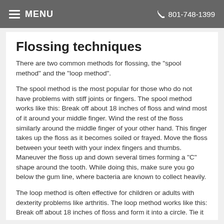MENU   801-748-1399
Flossing techniques
There are two common methods for flossing, the "spool method" and the "loop method".
The spool method is the most popular for those who do not have problems with stiff joints or fingers. The spool method works like this: Break off about 18 inches of floss and wind most of it around your middle finger. Wind the rest of the floss similarly around the middle finger of your other hand. This finger takes up the floss as it becomes soiled or frayed. Move the floss between your teeth with your index fingers and thumbs. Maneuver the floss up and down several times forming a "C" shape around the tooth. While doing this, make sure you go below the gum line, where bacteria are known to collect heavily.
The loop method is often effective for children or adults with dexterity problems like arthritis. The loop method works like this: Break off about 18 inches of floss and form it into a circle. Tie it securely with two or three knots.